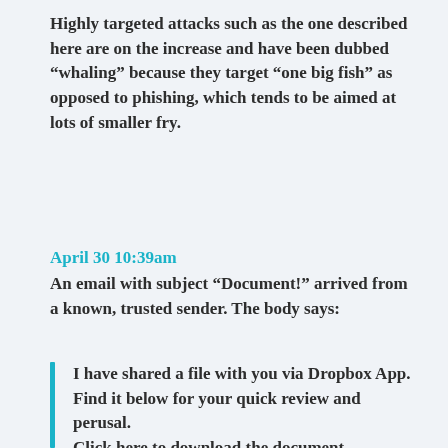Highly targeted attacks such as the one described here are on the increase and have been dubbed “whaling” because they target “one big fish” as opposed to phishing, which tends to be aimed at lots of smaller fry.
April 30 10:39am
An email with subject “Document!” arrived from a known, trusted sender. The body says:
I have shared a file with you via Dropbox App.
Find it below for your quick review and perusal.
Click here to download the document.